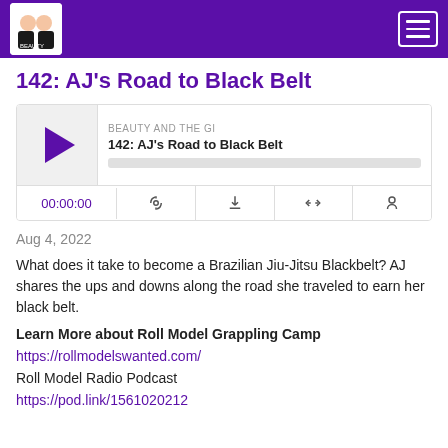Beauty and the Gi podcast navigation bar
142: AJ's Road to Black Belt
[Figure (screenshot): Podcast audio player widget showing episode '142: AJ's Road to Black Belt' by Beauty and the Gi, with play button, progress bar, timestamp 00:00:00, and controls for RSS, download, embed, and share]
Aug 4, 2022
What does it take to become a Brazilian Jiu-Jitsu Blackbelt? AJ shares the ups and downs along the road she traveled to earn her black belt.
Learn More about Roll Model Grappling Camp
https://rollmodelswanted.com/
Roll Model Radio Podcast
https://pod.link/1561020212